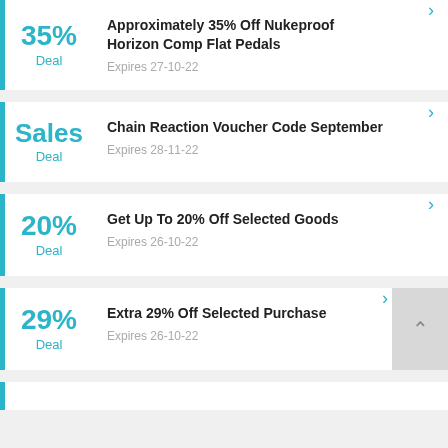35% Deal — Approximately 35% Off Nukeproof Horizon Comp Flat Pedals — Expires 27-10-22
Sales Deal — Chain Reaction Voucher Code September — Expires 28-11-22
20% Deal — Get Up To 20% Off Selected Goods — Expires 26-10-22
29% Deal — Extra 29% Off Selected Purchase — Expires 26-10-22